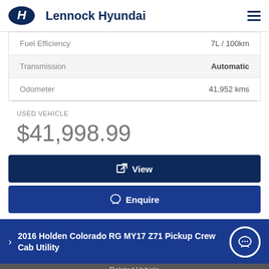Lennock Hyundai
| Attribute | Value |
| --- | --- |
| Fuel Efficiency | 7L / 100km |
| Transmission | Automatic |
| Odometer | 41,952 kms |
USED VEHICLE
$41,998.99
View
Enquire
2016 Holden Colorado RG MY17 Z71 Pickup Crew Cab Utility
Related Vehicle